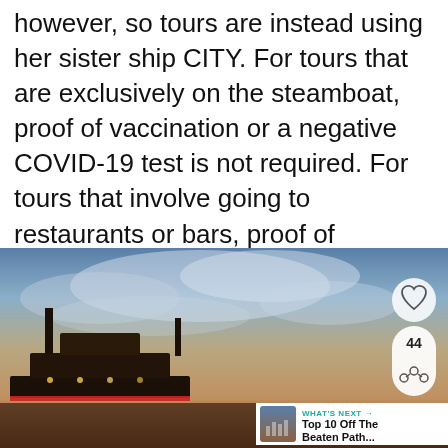however, so tours are instead using her sister ship CITY. For tours that are exclusively on the steamboat, proof of vaccination or a negative COVID-19 test is not required. For tours that involve going to restaurants or bars, proof of vaccination or a negative COVID-19 test is needed for entry to many of the establishments.
[Figure (photo): Photo of a steamboat/ship deck with a cloudy sunset sky. Overlaid UI elements include a heart/favorite button (top right), a share counter showing 44 (right), and a 'What's Next' card in the bottom right corner linking to 'Top 10 Off The Beaten Path...']